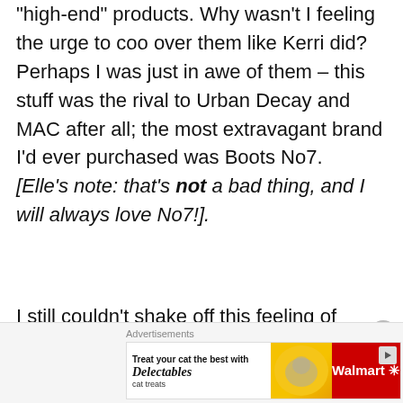“high-end” products.  Why wasn’t I feeling the urge to coo over them like Kerri did?  Perhaps I was just in awe of them – this stuff was the rival to Urban Decay and MAC after all; the most extravagant brand I’d ever purchased was Boots No7. [Elle’s note: that’s not a bad thing, and I will always love No7!].
I still couldn’t shake off this feeling of “meh”, though.
[Figure (other): Walmart advertisement banner featuring Delectables cat treats with a cat photo and Walmart logo]